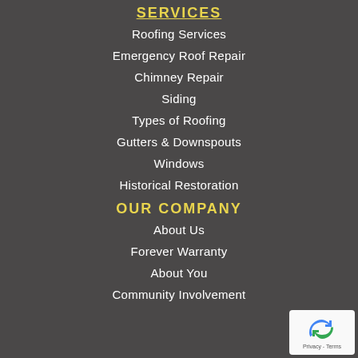SERVICES
Roofing Services
Emergency Roof Repair
Chimney Repair
Siding
Types of Roofing
Gutters & Downspouts
Windows
Historical Restoration
OUR COMPANY
About Us
Forever Warranty
About You
Community Involvement
[Figure (logo): reCAPTCHA privacy badge with spinning arrow logo and Privacy - Terms text]